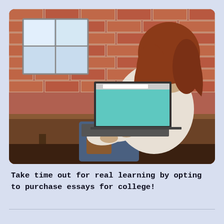[Figure (photo): A woman with auburn hair, seen from behind, sitting at a wooden bench against a red brick wall with a window. She is using an open laptop with a teal/green screen. She is wearing a light cream/beige sweater and jeans.]
Take time out for real learning by opting to purchase essays for college!